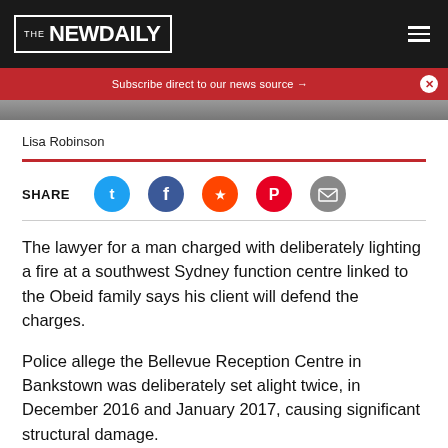THE NEW DAILY
Subscribe direct to our news source →
[Figure (photo): Partial image strip at top of article]
Lisa Robinson
SHARE
The lawyer for a man charged with deliberately lighting a fire at a southwest Sydney function centre linked to the Obeid family says his client will defend the charges.
Police allege the Bellevue Reception Centre in Bankstown was deliberately set alight twice, in December 2016 and January 2017, causing significant structural damage.
Omar Jamal Eddine, 33, was arrested outside his Sydney